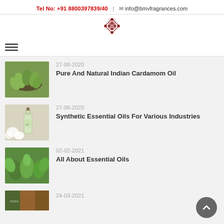Tel No: +91 8800397839/40  |  info@bmvfragrances.com
[Figure (logo): BMV Fragrances decorative knot logo in dark red]
[Figure (illustration): Hamburger/menu icon with three horizontal bars]
[Figure (photo): Photo of green cardamom pods in a bowl]
27-08-2020
Pure And Natural Indian Cardamom Oil
[Figure (photo): Photo of essential oil bottle with cork stopper and flowers]
27-08-2020
Synthetic Essential Oils For Various Industries
[Figure (photo): Photo of green herbs/plants]
02-02-2021
All About Essential Oils
[Figure (photo): Photo of spices and ingredients]
24-03-2021